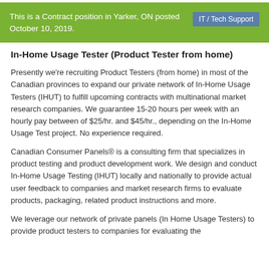This is a Contract position in Yarker, ON posted October 10, 2019.   IT / Tech Support
In-Home Usage Tester (Product Tester from home)
Presently we're recruiting Product Testers (from home) in most of the Canadian provinces to expand our private network of In-Home Usage Testers (IHUT) to fulfill upcoming contracts with multinational market research companies. We guarantee 15-20 hours per week with an hourly pay between of $25/hr. and $45/hr., depending on the In-Home Usage Test project. No experience required.
Canadian Consumer Panels® is a consulting firm that specializes in product testing and product development work. We design and conduct In-Home Usage Testing (IHUT) locally and nationally to provide actual user feedback to companies and market research firms to evaluate products, packaging, related product instructions and more.
We leverage our network of private panels (In Home Usage Testers) to provide product testers to companies for evaluating the